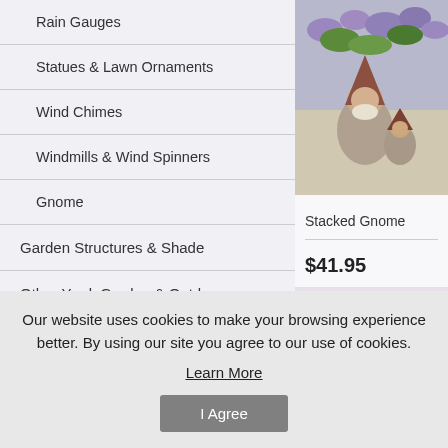Rain Gauges
Statues & Lawn Ornaments
Wind Chimes
Windmills & Wind Spinners
Gnome
Garden Structures & Shade
Other Yard, Garden & Outdoor
Outdoor Cooking & Eating
[Figure (photo): Stacked Gnome garden statue with flowers and greenery in background]
Stacked Gnome
$41.95
[Figure (photo): Red gnome figure partially visible]
Our website uses cookies to make your browsing experience better. By using our site you agree to our use of cookies.
Learn More
I Agree